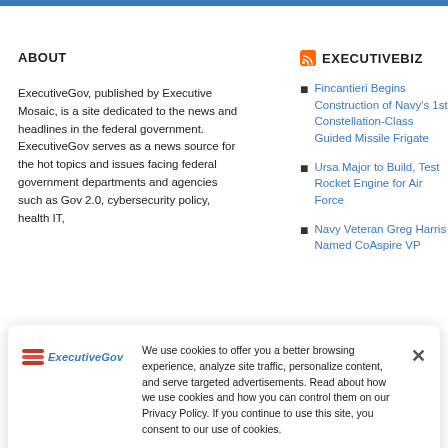ABOUT
EXECUTIVEBIZ
ExecutiveGov, published by Executive Mosaic, is a site dedicated to the news and headlines in the federal government. ExecutiveGov serves as a news source for the hot topics and issues facing federal government departments and agencies such as Gov 2.0, cybersecurity policy, health IT,
Fincantieri Begins Construction of Navy's 1st Constellation-Class Guided Missile Frigate
Ursa Major to Build, Test Rocket Engine for Air Force
Navy Veteran Greg Harris Named CoAspire VP
We use cookies to offer you a better browsing experience, analyze site traffic, personalize content, and serve targeted advertisements. Read about how we use cookies and how you can control them on our Privacy Policy. If you continue to use this site, you consent to our use of cookies.
DOD Final Rule